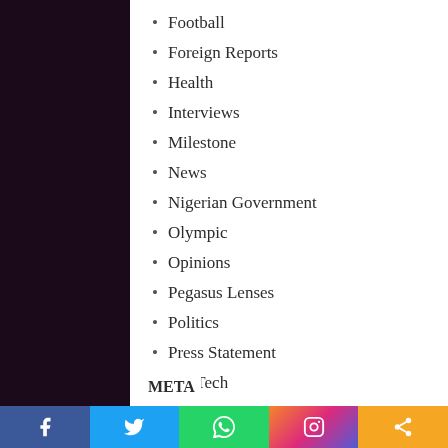Football
Foreign Reports
Health
Interviews
Milestone
News
Nigerian Government
Olympic
Opinions
Pegasus Lenses
Politics
Press Statement
Sci-Tech
Special Reports
Sports
Videos
META
[Figure (other): Social media share bar with Facebook, Twitter, WhatsApp, Instagram, and share icons]